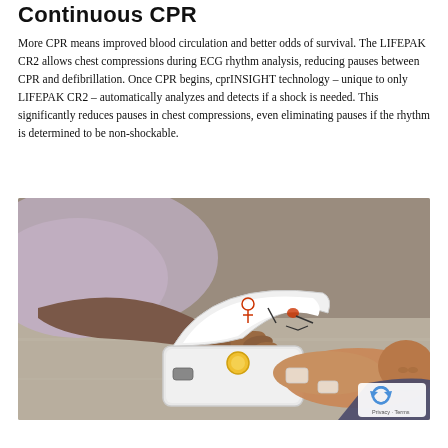Continuous CPR
More CPR means improved blood circulation and better odds of survival. The LIFEPAK CR2 allows chest compressions during ECG rhythm analysis, reducing pauses between CPR and defibrillation. Once CPR begins, cprINSIGHT technology – unique to only LIFEPAK CR2 – automatically analyzes and detects if a shock is needed. This significantly reduces pauses in chest compressions, even eliminating pauses if the rhythm is determined to be non-shockable.
[Figure (photo): Photo of a person performing CPR using a LIFEPAK CR2 AED device on a patient lying on the floor. The rescuer's hand is pressing the device button while the open lid shows illustrated instructions. The patient is lying on their back.]